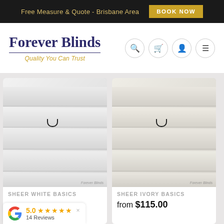Free Measure & Quote - Brisbane Area | BOOK NOW
Forever Blinds
Quality You Can Trust
[Figure (photo): Close-up photo of white sheer venetian blind slats with cord detail, watermarked 'Forever Blinds']
SHEER WHITE BASICS
[Figure (photo): Close-up photo of ivory/cream sheer venetian blind slats with cord detail, watermarked 'Forever Blinds']
SHEER IVORY BASICS
from $115.00
5.0 ★★★★★ × 14 Reviews